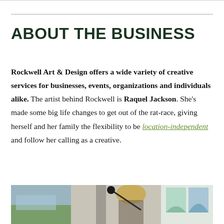ABOUT THE BUSINESS
Rockwell Art & Design offers a wide variety of creative services for businesses, events, organizations and individuals alike. The artist behind Rockwell is Raquel Jackson. She's made some big life changes to get out of the rat-race, giving herself and her family the flexibility to be location-independent and follow her calling as a creative.
[Figure (photo): Photo of Raquel Jackson in her art studio, surrounded by artwork and creative supplies.]